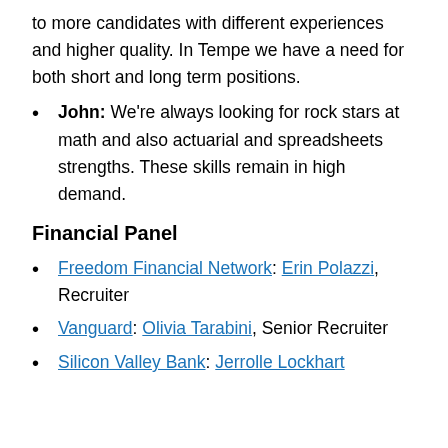to more candidates with different experiences and higher quality. In Tempe we have a need for both short and long term positions.
John: We're always looking for rock stars at math and also actuarial and spreadsheets strengths. These skills remain in high demand.
Financial Panel
Freedom Financial Network: Erin Polazzi, Recruiter
Vanguard: Olivia Tarabini, Senior Recruiter
Silicon Valley Bank: Jerrolle Lockhart